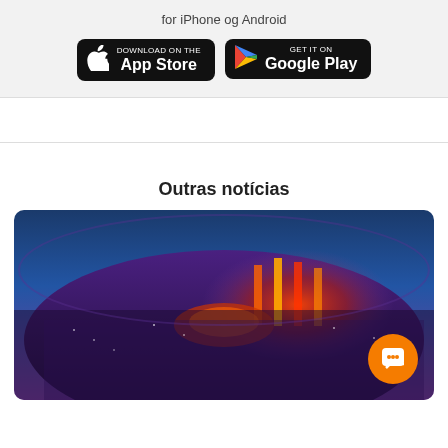for iPhone og Android
[Figure (logo): App Store download badge (black rounded rectangle with Apple logo and 'Download on the App Store' text)]
[Figure (logo): Google Play download badge (black rounded rectangle with Play triangle logo and 'GET IT ON Google Play' text)]
Outras notícias
[Figure (photo): Aerial night view of a large packed stadium with a concert stage lit up with red and white lights, crowds filling the stands, blue sky at the top.]